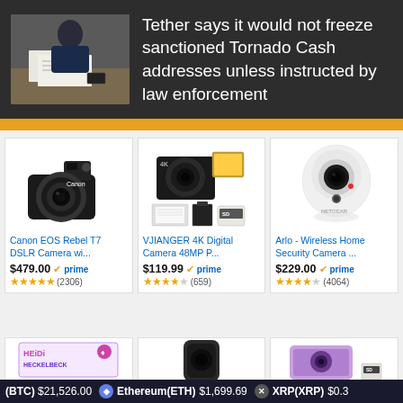[Figure (photo): News article thumbnail showing person at desk with documents, dark background banner]
Tether says it would not freeze sanctioned Tornado Cash addresses unless instructed by law enforcement
[Figure (photo): Canon EOS Rebel T7 DSLR Camera product image]
Canon EOS Rebel T7 DSLR Camera wi...
$479.00 prime (2306)
[Figure (photo): VJIANGER 4K Digital Camera 48MP product image]
VJIANGER 4K Digital Camera 48MP P...
$119.99 prime (659)
[Figure (photo): Arlo Wireless Home Security Camera product image]
Arlo - Wireless Home Security Camera ...
$229.00 prime (4064)
[Figure (photo): Heidi Heckelbeck product image (partial)]
[Figure (photo): Black security camera product image (partial)]
[Figure (photo): Purple digital camera product image (partial)]
(BTC) $21,526.00  Ethereum(ETH) $1,699.69  XRP(XRP) $0.3...